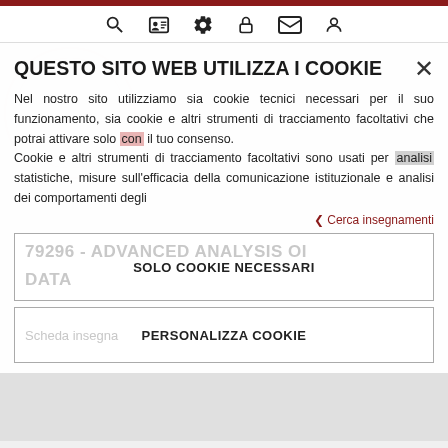[Figure (screenshot): Top navigation icon bar with search, profile, settings, lock, mail, and user icons on white background with dark red top border]
QUESTO SITO WEB UTILIZZA I COOKIE
Nel nostro sito utilizziamo sia cookie tecnici necessari per il suo funzionamento, sia cookie e altri strumenti di tracciamento facoltativi che potrai attivare solo con il tuo consenso.
Cookie e altri strumenti di tracciamento facoltativi sono usati per analisi statistiche, misure sull'efficacia della comunicazione istituzionale e analisi dei comportamenti degli
< Cerca insegnamenti
SOLO COOKIE NECESSARI
PERSONALIZZA COOKIE